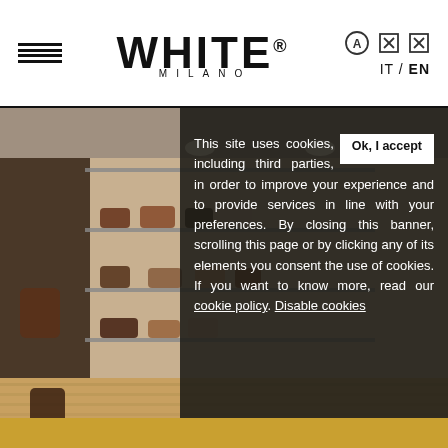WHITE® MILANO — navigation header with hamburger menu, logo, icons, IT / EN language selector
[Figure (photo): Interior of a shoe store (White Milano) showing shelves with boots and shoes, warm lighting, wooden floor]
This site uses cookies, including third parties, in order to improve your experience and to provide services in line with your preferences. By closing this banner, scrolling this page or by clicking any of its elements you consent the use of cookies. If you want to know more, read our cookie policy. Disable cookies
Ok, I accept